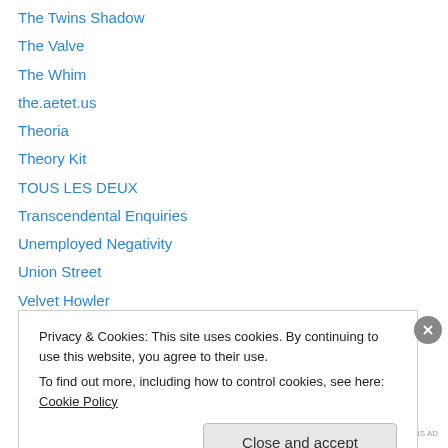The Twins Shadow
The Valve
The Whim
the.aetet.us
Theoria
Theory Kit
TOUS LES DEUX
Transcendental Enquiries
Unemployed Negativity
Union Street
Velvet Howler
Velvethowler
Voyou Desoeuvre
Privacy & Cookies: This site uses cookies. By continuing to use this website, you agree to their use.
To find out more, including how to control cookies, see here: Cookie Policy
Close and accept